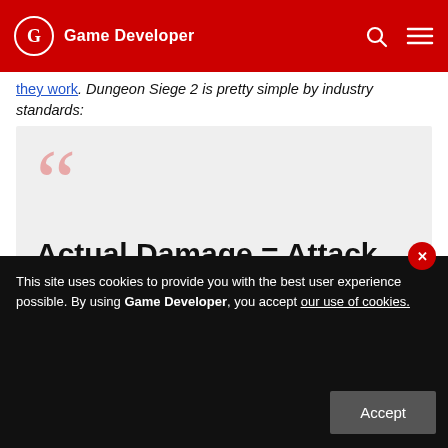Game Developer
they work. Dungeon Siege 2 is pretty simple by industry standards:
[Figure (other): Large decorative opening quotation marks in pink/salmon color on a light gray background, followed by the formula text: Actual Damage = Attack Damage * (Expected Attacker DPS / Armor)]
This site uses cookies to provide you with the best user experience possible. By using Game Developer, you accept our use of cookies.